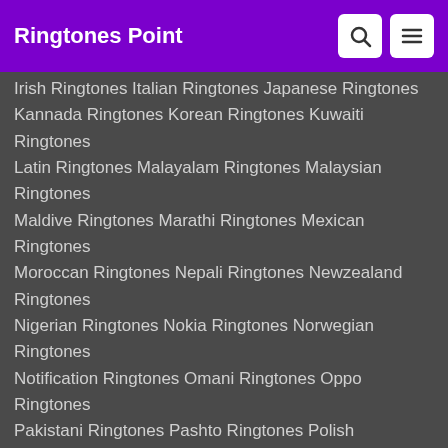Ringtones Point
Irish Ringtones Italian Ringtones Japanese Ringtones
Kannada Ringtones Korean Ringtones Kuwaiti Ringtones
Latin Ringtones Malayalam Ringtones Malaysian Ringtones
Maldive Ringtones Marathi Ringtones Mexican Ringtones
Moroccan Ringtones Nepali Ringtones Newzealand Ringtones
Nigerian Ringtones Nokia Ringtones Norwegian Ringtones
Notification Ringtones Omani Ringtones Oppo Ringtones
Pakistani Ringtones Pashto Ringtones Polish Ringtones
Portuguese Ringtones Punjabi Ringtones Qatar Ringtones
Rajasthani Ringtones Romanian Ringtones Russian Ringtones
Samsung Ringtones Singaporean Ringtones
South African Ringtones Spanish Ringtones
Sri-Lankan Ringtones Swedish Ringtones Taiwanese Ringtones
Tajik Ringtones Tamil Ringtones Telugu Ringtones
Turkish Ringtones Ugandan Ringtones Uzbek Ringtones
Vietnamese Ringtones
Legal